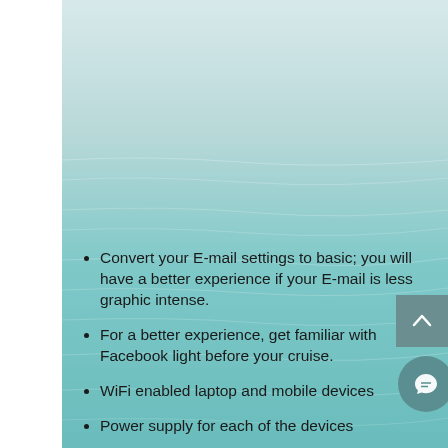[Figure (photo): Teal/turquoise ocean water background with light gradient from pale blue-grey at top to teal green at bottom, with subtle wave ripples visible]
Convert your E-mail settings to basic; you will have a better experience if your E-mail is less graphic intense.
For a better experience, get familiar with Facebook light before your cruise.
WiFi enabled laptop and mobile devices
Power supply for each of the devices